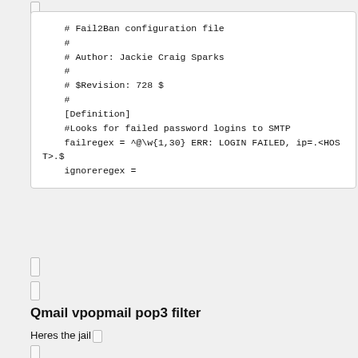# Fail2Ban configuration file
    #
    # Author: Jackie Craig Sparks
    #
    # $Revision: 728 $
    #
    [Definition]
    #Looks for failed password logins to SMTP
    failregex = ^@\w{1,30} ERR: LOGIN FAILED, ip=.<HOST>.$
    ignoreregex =
Qmail vpopmail pop3 filter
Heres the jail
[qmail-vpopmail-pop3-user-notfound]
    enabled = true